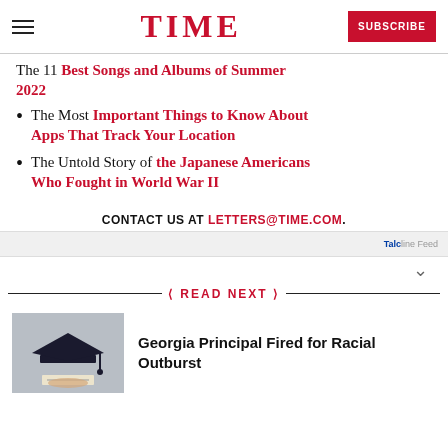TIME  SUBSCRIBE
The 11 Best Songs and Albums of Summer 2022
The Most Important Things to Know About Apps That Track Your Location
The Untold Story of the Japanese Americans Who Fought in World War II
CONTACT US AT LETTERS@TIME.COM.
READ NEXT
Georgia Principal Fired for Racial Outburst